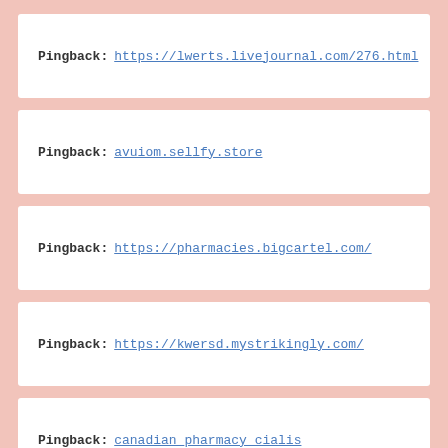Pingback: https://lwerts.livejournal.com/276.html
Pingback: avuiom.sellfy.store
Pingback: https://pharmacies.bigcartel.com/
Pingback: https://kwersd.mystrikingly.com/
Pingback: canadian_pharmacy_cialis
Pingback: hydroxychloroquine_wiki